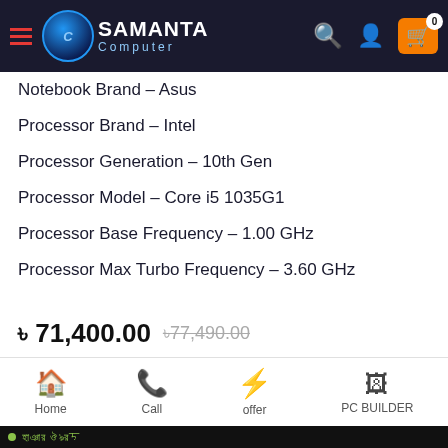[Figure (screenshot): Samanta Computer e-commerce website header with logo, hamburger menu, search icon, user icon, and cart with badge showing 0]
Notebook Brand – Asus
Processor Brand – Intel
Processor Generation – 10th Gen
Processor Model – Core i5 1035G1
Processor Base Frequency – 1.00 GHz
Processor Max Turbo Frequency – 3.60 GHz
৳ 71,400.00  ৳77,490.00 (strikethrough)
1  BUY NOW
Home  Call  offer  PC BUILDER